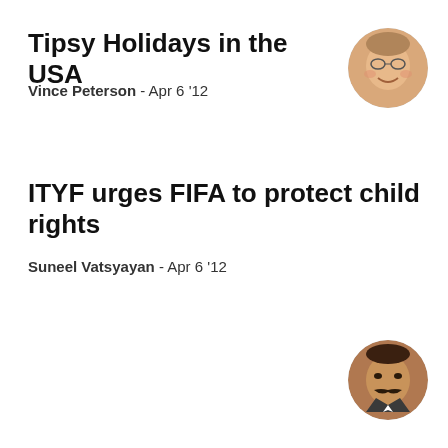Tipsy Holidays in the USA
Vince Peterson - Apr 6 '12
[Figure (photo): Circular avatar photo of an older smiling man with glasses]
ITYF urges FIFA to protect child rights
Suneel Vatsyayan - Apr 6 '12
[Figure (photo): Circular avatar photo of a middle-aged man with a mustache wearing a suit]